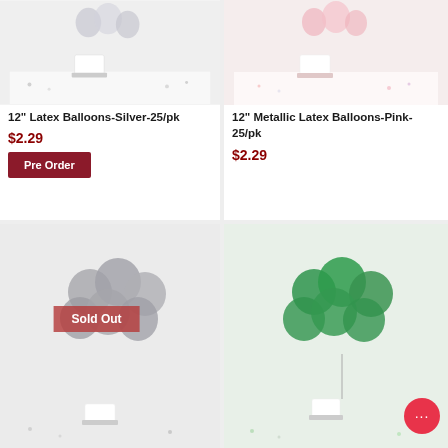[Figure (photo): White cake with silver/clear balloons on confetti-covered table, silver scene]
12" Latex Balloons-Silver-25/pk
$2.29
Pre Order
[Figure (photo): White cake with pink metallic balloons on confetti-covered table, pink scene]
12" Metallic Latex Balloons-Pink-25/pk
$2.29
[Figure (photo): Cluster of silver/grey small balloons with Sold Out badge overlay]
Sold Out
[Figure (photo): Cluster of green metallic balloons with chat bubble icon in bottom right]